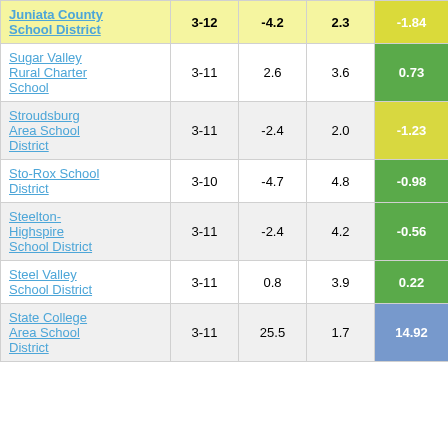| School District | Grades | Col3 | Col4 | Score |
| --- | --- | --- | --- | --- |
| Juniata County School District | 3-12 | -4.2 | 2.3 | -1.84 |
| Sugar Valley Rural Charter School | 3-11 | 2.6 | 3.6 | 0.73 |
| Stroudsburg Area School District | 3-11 | -2.4 | 2.0 | -1.23 |
| Sto-Rox School District | 3-10 | -4.7 | 4.8 | -0.98 |
| Steelton-Highspire School District | 3-11 | -2.4 | 4.2 | -0.56 |
| Steel Valley School District | 3-11 | 0.8 | 3.9 | 0.22 |
| State College Area School District | 3-11 | 25.5 | 1.7 | 14.92 |